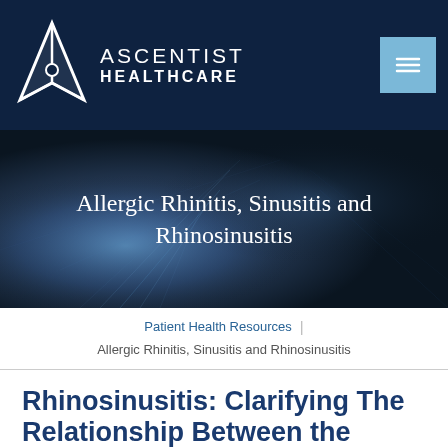ASCENTIST HEALTHCARE
[Figure (illustration): Ascentist Healthcare logo with white triangle/arrow icon and navigation menu button on dark navy background]
Allergic Rhinitis, Sinusitis and Rhinosinusitis
Patient Health Resources | Allergic Rhinitis, Sinusitis and Rhinosinusitis
Rhinosinusitis: Clarifying The Relationship Between the Sinuses and Rhinitis